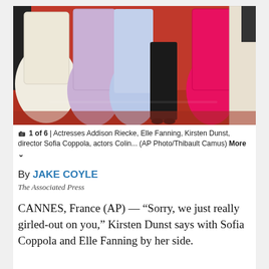[Figure (photo): Red carpet photo showing actresses Addison Riecke, Elle Fanning, Kirsten Dunst, director Sofia Coppola, and actors Colin... posing in formal gowns (white/cream, lavender, light blue, black, hot pink/red) on a red carpet. AP Photo by Thibault Camus.]
1 of 6 | Actresses Addison Riecke, Elle Fanning, Kirsten Dunst, director Sofia Coppola, actors Colin... (AP Photo/Thibault Camus) More
By JAKE COYLE
The Associated Press
CANNES, France (AP) — “Sorry, we just really girled-out on you,” Kirsten Dunst says with Sofia Coppola and Elle Fanning by her side.